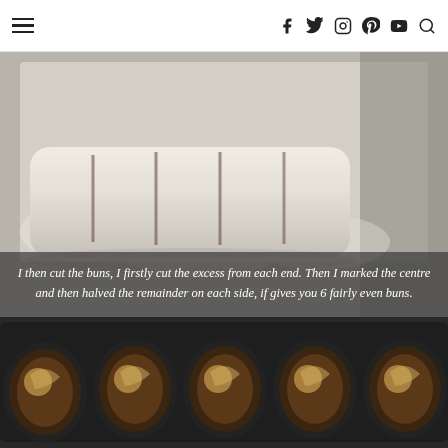Navigation header with hamburger menu and social icons: Facebook, Twitter, Instagram, Pinterest, YouTube, Search
[Figure (photo): A rolled dough log cut into 6 sections on a floured surface, viewed from above. Dark cut lines visible across the white dough roll.]
I then cut the buns, I firstly cut the excess from each end. Then I marked the centre and then halved the remainder on each side, if gives you 6 fairly even buns.
[Figure (photo): A dark muffin/bun tin with 5 visible bun sections placed inside, showing swirled dough with filling visible from above.]